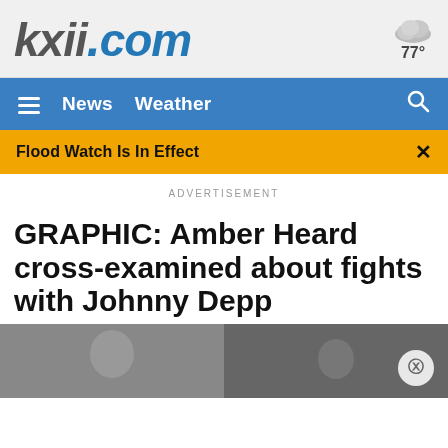[Figure (logo): kxii.com logo with weather widget showing cloud icon and 77°]
News   Weather
Flood Watch Is In Effect
ADVERTISEMENT
GRAPHIC: Amber Heard cross-examined about fights with Johnny Depp
[Figure (photo): Article thumbnail photo]